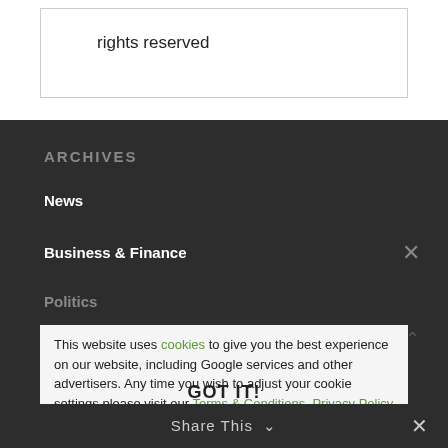rights reserved
ARCHIVES
News
Business & Finance
Politics
Culture
Science, Technology and Environment
Lifestyle & Travel
This website uses cookies to give you the best experience on our website, including Google services and other advertisers. Any time you wish to adjust your cookie settings please visit our Terms & Conditions, Privacy Policy page.
GOT IT!
Share This ✓